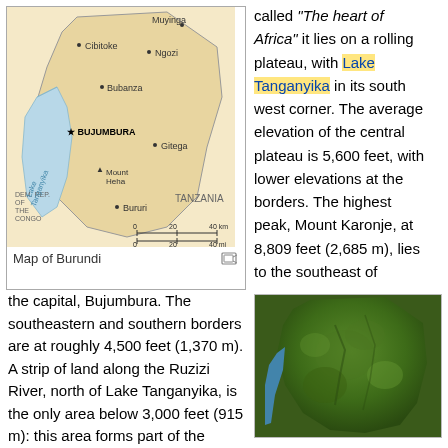[Figure (map): Map of Burundi showing cities: Cibitoke, Muyinga, Ngozi, Bubanza, Bujumbura (capital), Gitega, Mount Heha, Bururi, Lake Tanganyika. Borders with DEM. REP. OF THE CONGO and TANZANIA. Blue lake region in west. Scale bar 0-20-40 km and 0-20-40 mi.]
Map of Burundi
called "The heart of Africa" it lies on a rolling plateau, with Lake Tanganyika in its south west corner. The average elevation of the central plateau is 5,600 feet, with lower elevations at the borders. The highest peak, Mount Karonje, at 8,809 feet (2,685 m), lies to the southeast of
the capital, Bujumbura. The southeastern and southern borders are at roughly 4,500 feet (1,370 m). A strip of land along the Ruzizi River, north of Lake Tanganyika, is the only area below 3,000 feet (915 m): this area forms part of the Albertine Rift, the western extension of the Great Rift Valley.
The land is mostly agricultural or
[Figure (photo): Satellite/aerial photograph of Burundi showing green forested terrain shaped like the country, with a blue water body (Lake Tanganyika) visible on the western/southwestern edge.]